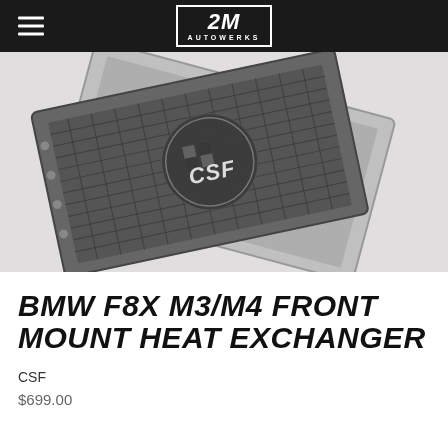2M Autowerks
[Figure (photo): Two CSF brand heat exchangers / radiators crossed over each other on a white background. The units are aluminum with mesh cores. The top unit has the CSF logo prominently displayed in the center.]
BMW F8X M3/M4 FRONT MOUNT HEAT EXCHANGER
CSF
$699.00